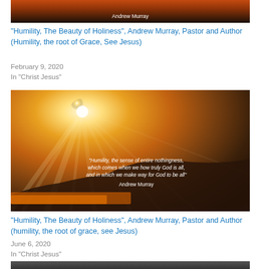[Figure (photo): Dark landscape photo with Andrew Murray text overlay, partial crop at top]
“Humility, The Beauty of Holiness”, Andrew Murray, Pastor and Author (Humility, the root of Grace, See Jesus)
February 9, 2020
In “Christ Jesus”
[Figure (photo): Dramatic sunset/sunrise photo with sunbeams through clouds and Andrew Murray quote: "Humility, the sense of entire nothingness, which comes when we how truly God is all, and in which we make way for God to be all" Andrew Murray]
“Humility, The Beauty of Holiness”, Andrew Murray, Pastor and Author (humility, the root of grace, see Jesus)
June 6, 2020
In “Christ Jesus”
[Figure (photo): Partial photo visible at bottom of page, dark tones]